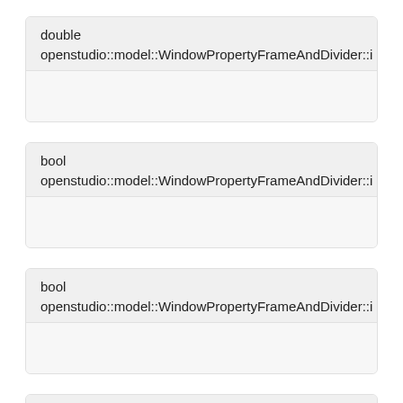double openstudio::model::WindowPropertyFrameAndDivider::i
bool openstudio::model::WindowPropertyFrameAndDivider::i
bool openstudio::model::WindowPropertyFrameAndDivider::i
bool openstudio::model::WindowPropertyFrameAndDivider::i